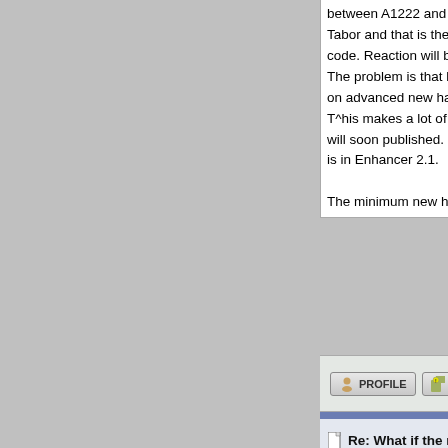between A1222 and V54. T... Tabor and that is the end o... code. Reaction will be repl... The problem is that becaus... on advanced new hardwar... T^his makes a lot of V54 u... will soon published. In fact... is in Enhancer 2.1.

The minimum new hardwa...
Status: Offline
Bosanac
Re: What if the rumor is tru...
Posted on 31-May-2022 18:...
Member
Joined: 10-May-2022
Posts: 81
From: Unknown
@Neuf

Hi Jim!
Status: Offline
WolfToTheMoon
Re: What if the rumor is tru...
Posted on 31-May-2022 18:...
[Figure (photo): Photo of a hardware device, appears to be an Amiga or similar computer case/keyboard]
@Neuf

Are you saying that V54 is...